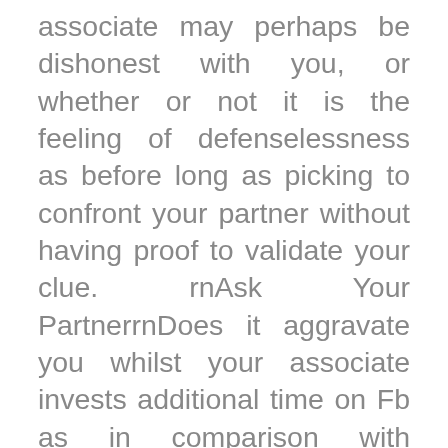associate may perhaps be dishonest with you, or whether or not it is the feeling of defenselessness as before long as picking to confront your partner without having proof to validate your clue. rnAsk Your PartnerrnDoes it aggravate you whilst your associate invests additional time on Fb as in comparison with he/she genuinely does with you? Would it nip you as soon as she or he needs to converse with any individual on Fb somewhat of you, and when you talk about with your partner who in fact it is